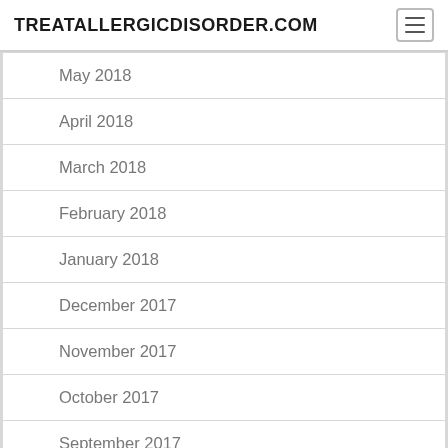TREATALLERGICDISORDER.COM
May 2018
April 2018
March 2018
February 2018
January 2018
December 2017
November 2017
October 2017
September 2017
August 2017